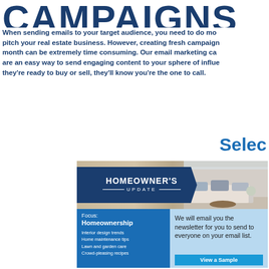CAMPAIGNS
When sending emails to your target audience, you need to do more than pitch your real estate business. However, creating fresh campaigns every month can be extremely time consuming. Our email marketing campaigns are an easy way to send engaging content to your sphere of influence. When they're ready to buy or sell, they'll know you're the one to call.
Selec
[Figure (illustration): Homeowner's Update newsletter preview card showing a living room photo banner with dark blue ribbon overlay reading HOMEOWNER'S UPDATE, and a two-column layout below with Focus: Homeownership on the left listing interior design trends, home maintenance tips, lawn and garden care, crowd-pleasing recipes, and on the right a light blue panel with text 'We will email you the newsletter for you to send to everyone on your email list.' and a View a Sample button.]